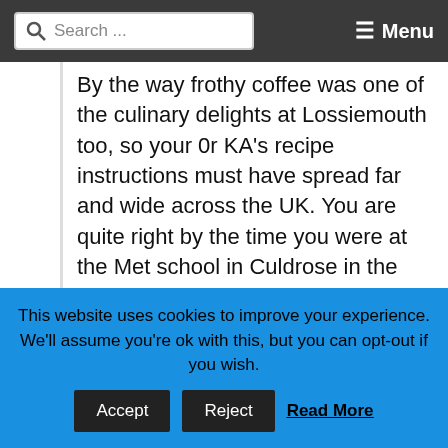Search ... ☰ Menu
By the way frothy coffee was one of the culinary delights at Lossiemouth too, so your 0r KA's recipe instructions must have spread far and wide across the UK. You are quite right by the time you were at the Met school in Culdrose in the late 60's I had left the WRNS and was following a different career path, very few wrens saw the navy as a career choice. Have a Happy Christmas.
This website uses cookies to improve your experience. We'll assume you're ok with this, but you can opt-out if you wish.
Accept  Reject  Read More